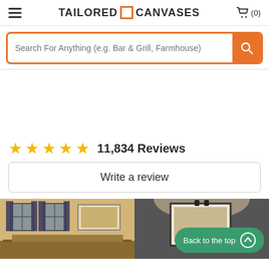[Figure (screenshot): Website header with hamburger menu, Tailored Canvases logo with orange square icon, and shopping cart icon with (0)]
[Figure (screenshot): Orange-bordered search bar with placeholder text 'Search For Anything (e.g. Bar & Grill, Farmhouse)' and orange search button]
11,834 Reviews
Write a review
[Figure (photo): Two thumbnail photos side by side at the bottom, one showing a room interior with canvas art, the other showing a canvas on a wall. A 'Back to the top' green button overlaid on the right photo.]